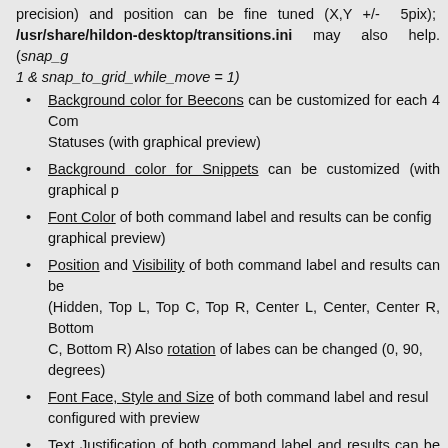precision) and position can be fine tuned (X,Y +/- 5pix); /usr/share/hildon-desktop/transitions.ini may also help. (snap_g 1 & snap_to_grid_while_move = 1)
Background color for Beecons can be customized for each 4 Com Statuses (with graphical preview)
Background color for Snippets can be customized (with graphical p
Font Color of both command label and results can be config graphical preview)
Position and Visibility of both command label and results can be (Hidden, Top L, Top C, Top R, Center L, Center, Center R, Bottom C, Bottom R) Also rotation of labes can be changed (0, 90, degrees)
Font Face, Style and Size of both command label and resul configured with preview
Text Justification of both command label and results can be config Center, Right, Fill)
Command execution can be triggered optionally on widget s manual pressing on Widget, by desktop switching, by periodi (0=Manual, 30s, 1m, 5m, 30m, 1h, 6h, 12h, 1d, Custom Seconds by specific DBUS Events on System or Session Bus.which can through custom rules